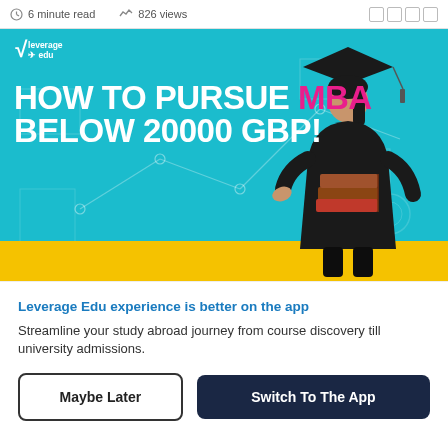6 minute read · 826 views
[Figure (illustration): Leverage Edu banner showing a female graduate in cap and gown holding books against a teal background with geometric graphics, with the headline HOW TO PURSUE MBA BELOW 20000 GBP! and a yellow band at the bottom. Leverage Edu logo in top left.]
Leverage Edu experience is better on the app
Streamline your study abroad journey from course discovery till university admissions.
Maybe Later
Switch To The App